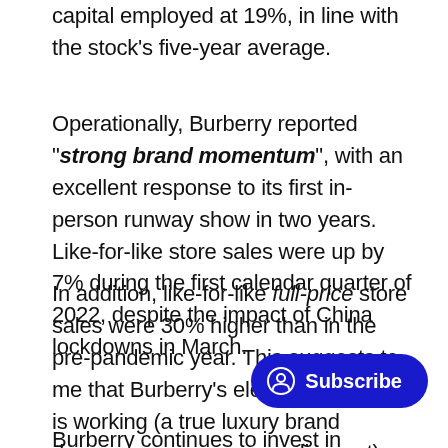capital employed at 19%, in line with the stock's five-year average.
Operationally, Burberry reported "strong brand momentum", with an excellent response to its first in-person runway show in two years. Like-for-like store sales were up by 7% during the first calendar quarter of 2022, despite the impact of China lockdowns in March.
In addition, like-for-like full-price store sales were 30% higher than in the pre-pandemic year. This suggests to me that Burberry's elevation strategy is working (a true luxury brand do discount).
Burberry continues to invest in outerwear and